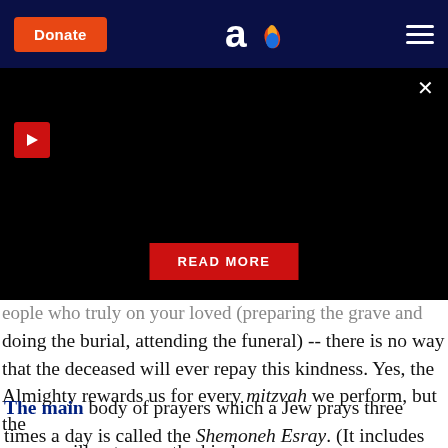Donate | Aish logo | hamburger menu
[Figure (screenshot): Black video/ad banner with red play button in top-left, X close button in top-right, and red READ MORE button centered at bottom]
eople who truly on your loved (preparing the grave and doing the burial, attending the funeral) -- there is no way that the deceased will ever repay this kindness. Yes, the Almighty rewards us for every mitzvah we perform, but the person will not repay the kindness.
The main body of prayers which a Jew prays three times a day is called the Shemoneh Esray. (It includes praises